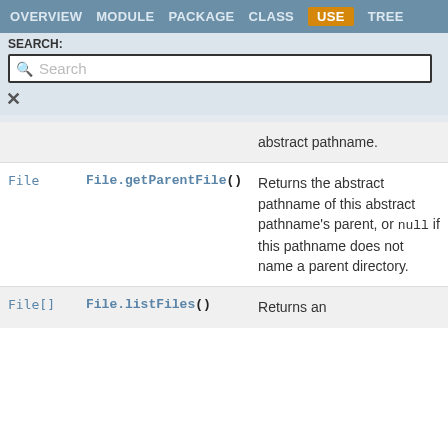OVERVIEW  MODULE  PACKAGE  CLASS  USE  TREE
SEARCH:
Search
| Type | Method | Description |
| --- | --- | --- |
|  |  | abstract pathname. |
| File | File.getParentFile() | Returns the abstract pathname of this abstract pathname's parent, or null if this pathname does not name a parent directory. |
| File[] | File.listFiles() | Returns an |